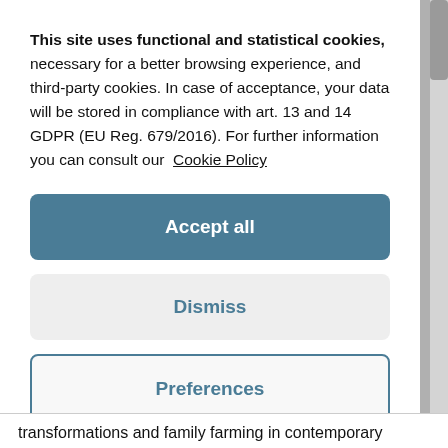This site uses functional and statistical cookies, necessary for a better browsing experience, and third-party cookies. In case of acceptance, your data will be stored in compliance with art. 13 and 14 GDPR (EU Reg. 679/2016). For further information you can consult our Cookie Policy
Accept all
Dismiss
Preferences
transformations and family farming in contemporary